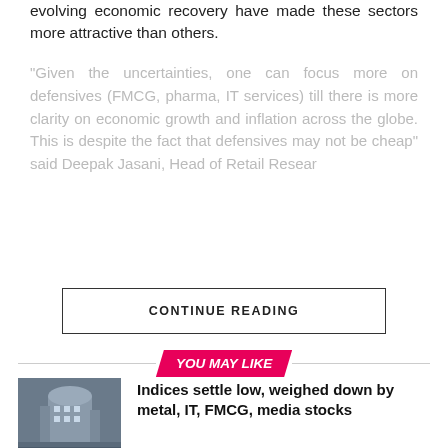evolving economic recovery have made these sectors more attractive than others.
“Given the uncertainties, one can focus more on defensives (FMCG, pharma, IT services) till there is more clarity on economic growth and inflation across the globe. This is despite the fact that defensives may not be cheap” said Deepak Jasani, Head of Retail Resear…
CONTINUE READING
YOU MAY LIKE
[Figure (photo): Stock exchange building exterior photo thumbnail]
Indices settle low, weighed down by metal, IT, FMCG, media stocks
[Figure (photo): Person at IT event thumbnail, blue background]
Sanjiv Puri’s ‘Next’ strategy drives ITC into future-ready lane with smart innovation in FMCG, Hotels, Agri